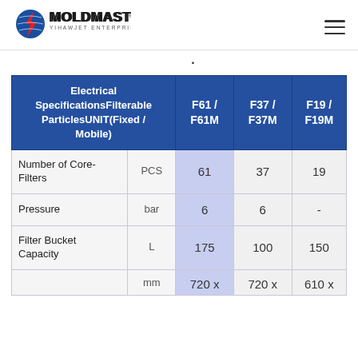[Figure (logo): Moldmaster logo - Yihawjet Enterprises Co., Ltd. with blue and red lightning bolt emblem]
| Electrical SpecificationsFilterable ParticlesUNIT(Fixed / Mobile) | F61 / F61M | F37 / F37M | F19 / F19M |
| --- | --- | --- | --- |
| Number of Core-Filters | PCS | 61 | 37 | 19 |
| Pressure | bar | 6 | 6 | - |
| Filter Bucket Capacity | L | 175 | 100 | 150 |
|  | mm | 720 x | 720 x | 610 x |